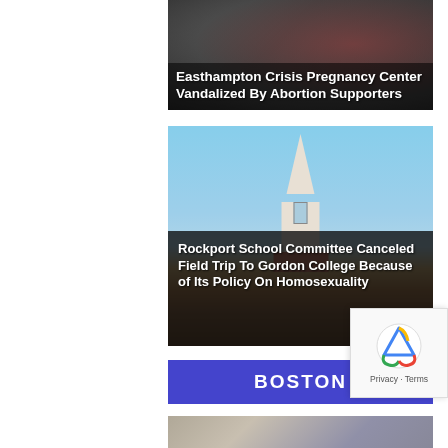[Figure (photo): News article thumbnail: dark background image with white text overlay reading 'Easthampton Crisis Pregnancy Center Vandalized By Abortion Supporters']
Easthampton Crisis Pregnancy Center Vandalized By Abortion Supporters
[Figure (photo): Photo of a church with white steeple and brick tower against blue sky, with dark overlay text reading 'Rockport School Committee Canceled Field Trip To Gordon College Because of Its Policy On Homosexuality']
Rockport School Committee Canceled Field Trip To Gordon College Because of Its Policy On Homosexuality
BOSTON
[Figure (photo): Photo of a man in a blue suit jacket, appears to be a news segment still]